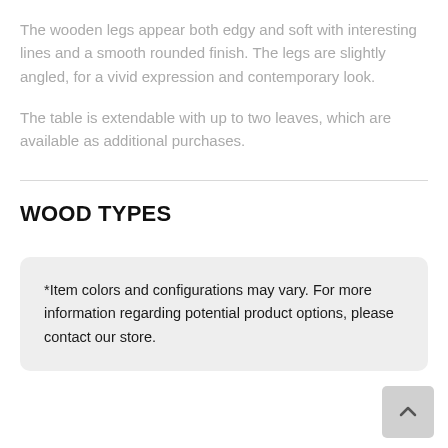The wooden legs appear both edgy and soft with interesting lines and a smooth rounded finish. The legs are slightly angled, for a vivid expression and contemporary look.
The table is extendable with up to two leaves, which are available as additional purchases.
WOOD TYPES
*Item colors and configurations may vary. For more information regarding potential product options, please contact our store.